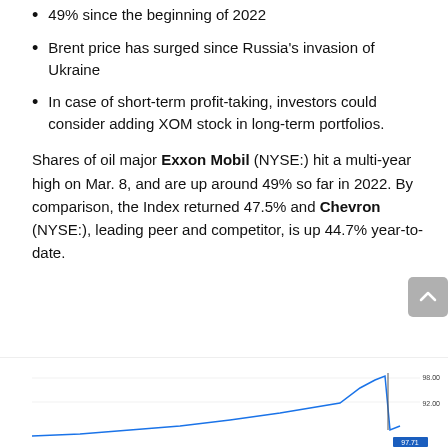49% since the beginning of 2022
Brent price has surged since Russia's invasion of Ukraine
In case of short-term profit-taking, investors could consider adding XOM stock in long-term portfolios.
Shares of oil major Exxon Mobil (NYSE:) hit a multi-year high on Mar. 8, and are up around 49% so far in 2022. By comparison, the Index returned 47.5% and Chevron (NYSE:), leading peer and competitor, is up 44.7% year-to-date.
[Figure (line-chart): Stock chart for Exxon Mobil Corp, United States, NYSE:XOM, W. Published on investing.com 8/Mar/2022. Shows price near top right around 96-97 range with y-axis labels 98.00 and 92.00.]